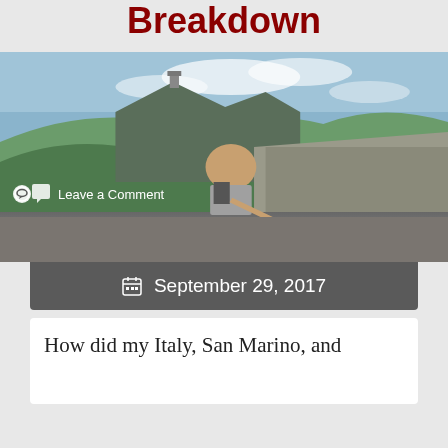Breakdown
[Figure (photo): A person taking a selfie on a castle/fortress wall with a mountain panorama and valley views behind them. Fisheye lens photo. A tower sits on a rocky peak in the background.]
Leave a Comment
September 29, 2017
How did my Italy, San Marino, and